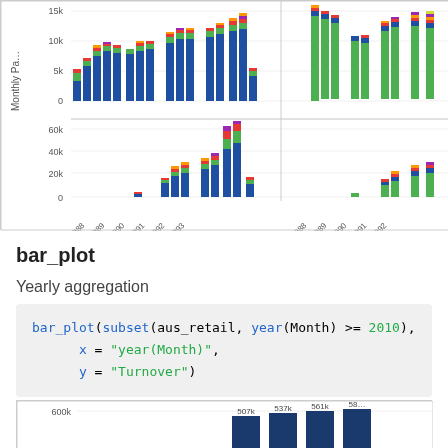[Figure (stacked-bar-chart): Two side-by-side stacked bar charts showing monthly data from 1988-1993. Y-axis shows values 0, 5k, 10k, 15k on top panel and 0, 20k, 40k, 60k on bottom panel. Bars are multi-colored (blue, green, red, orange, purple, yellow).]
bar_plot
Yearly aggregation
[Figure (bar-chart): Partial bar chart showing values 507k, 537k, 561k, and 58x at 600k gridline, bars are dark blue.]